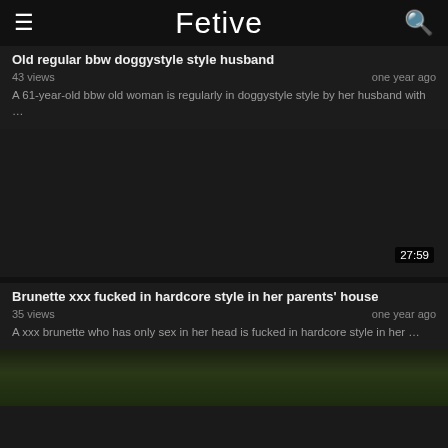Fetive
Old regular bbw doggystyle style husband
43 views | one year ago
A 61-year-old bbw old woman is regularly in doggystyle style by her husband with …
[Figure (photo): Dark video thumbnail with duration badge showing 27:59]
Brunette xxx fucked in hardcore style in her parents' house
35 views | one year ago
A xxx brunette who has only sex in her head is fucked in hardcore style in her …
[Figure (photo): Partial video thumbnail showing outdoor scene]